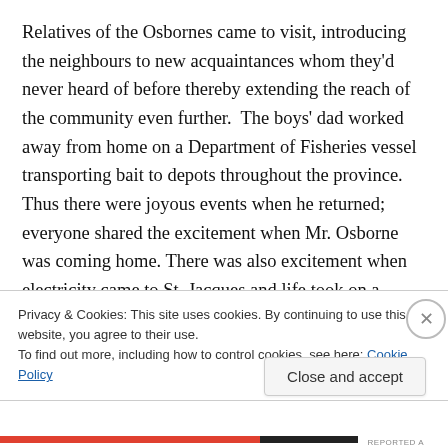Relatives of the Osbornes came to visit, introducing the neighbours to new acquaintances whom they'd never heard of before thereby extending the reach of the community even further.  The boys' dad worked away from home on a Department of Fisheries vessel transporting bait to depots throughout the province. Thus there were joyous events when he returned; everyone shared the excitement when Mr. Osborne was coming home. There was also excitement when electricity came to St. Jacques and life took on a different order. Aunt Pearl no longer made ice cream by hand. One year Uncle Ben passed on
Privacy & Cookies: This site uses cookies. By continuing to use this website, you agree to their use.
To find out more, including how to control cookies, see here: Cookie Policy
Close and accept